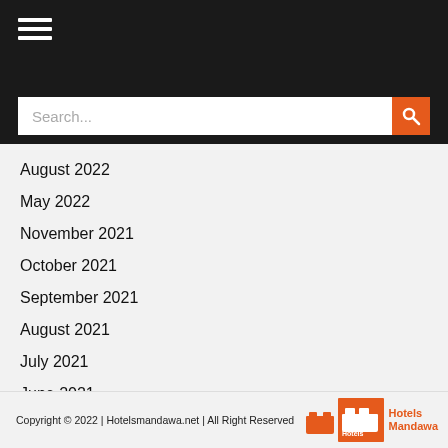≡
Search...
August 2022
May 2022
November 2021
October 2021
September 2021
August 2021
July 2021
June 2021
October 2017
Copyright © 2022 | Hotelsmandawa.net | All Right Reserved